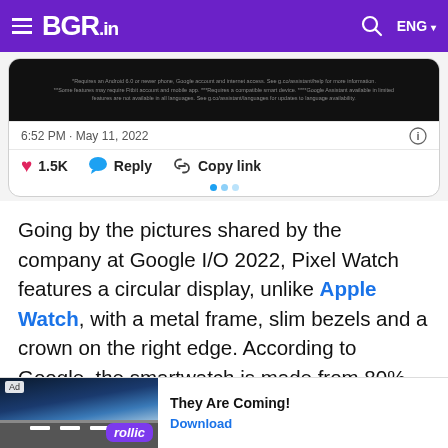BGR.in
[Figure (screenshot): Embedded tweet screenshot showing a phone image with disclaimer text, timestamp '6:52 PM · May 11, 2022', and action bar with heart (1.5K), Reply, and Copy link buttons]
Going by the pictures shared by the company at Google I/O 2022, Pixel Watch features a circular display, unlike Apple Watch, with a metal frame, slim bezels and a crown on the right edge. According to Google, the smartwatch is made from 80% recycled stainless steel. Pixel Watch is likely to be available in black, gold and grey colour options.
[Figure (screenshot): Advertisement banner for 'rollic' app with text 'They Are Coming!' and a Download button, showing a road/game image on the left]